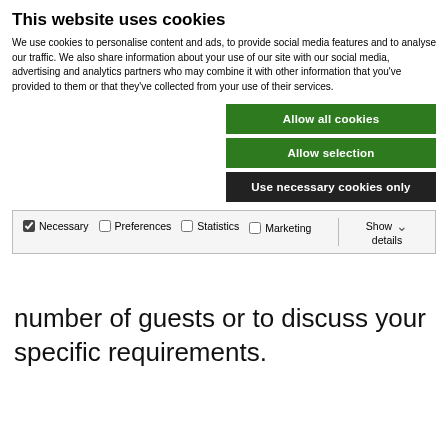This website uses cookies
We use cookies to personalise content and ads, to provide social media features and to analyse our traffic. We also share information about your use of our site with our social media, advertising and analytics partners who may combine it with other information that you've provided to them or that they've collected from your use of their services.
Allow all cookies
Allow selection
Use necessary cookies only
Necessary  Preferences  Statistics  Marketing  Show details
number of guests or to discuss your specific requirements.